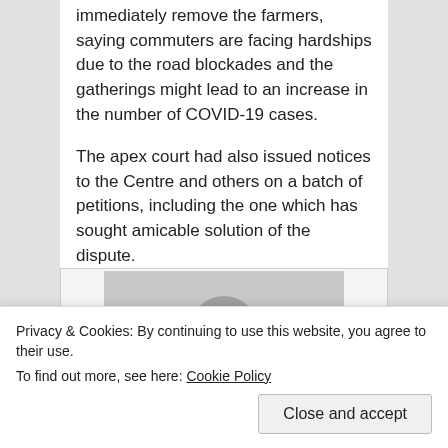immediately remove the farmers, saying commuters are facing hardships due to the road blockades and the gatherings might lead to an increase in the number of COVID-19 cases.
The apex court had also issued notices to the Centre and others on a batch of petitions, including the one which has sought amicable solution of the dispute.
[Figure (photo): Placeholder person silhouette image in a grey box]
Tweet
Privacy & Cookies: By continuing to use this website, you agree to their use.
To find out more, see here: Cookie Policy
Close and accept